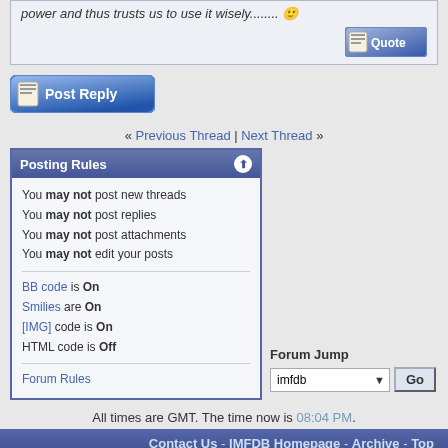power and thus trusts us to use it wisely.......
[Figure (screenshot): Quote button in forum post]
[Figure (screenshot): Post Reply button]
« Previous Thread | Next Thread »
Posting Rules
You may not post new threads
You may not post replies
You may not post attachments
You may not edit your posts
BB code is On
Smilies are On
[IMG] code is On
HTML code is Off
Forum Rules
Forum Jump
All times are GMT. The time now is 08:04 PM.
Contact Us - IMFDB Homepage - Archive - Top
Powered by vBulletin® Version 3.8.0
Copyright ©2000 - 2022, Jelsoft Enterprises Ltd.